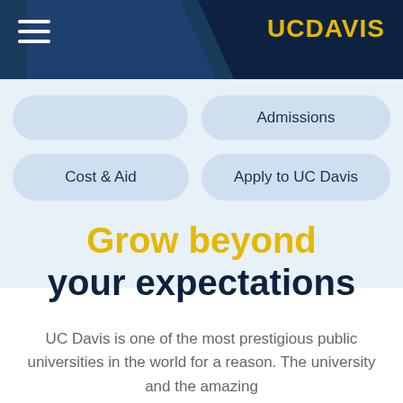UC DAVIS
[Figure (screenshot): UC Davis website navigation header with dark navy background, hamburger menu icon on left, UC Davis logo in gold on right]
Admissions
Cost & Aid
Apply to UC Davis
Grow beyond your expectations
UC Davis is one of the most prestigious public universities in the world for a reason. The university and the amazing